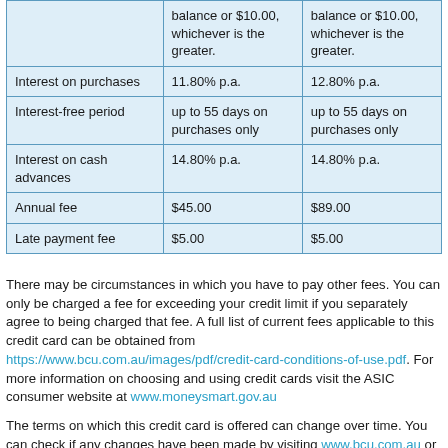|  | balance or $10.00, whichever is the greater. | balance or $10.00, whichever is the greater. |
| Interest on purchases | 11.80% p.a. | 12.80% p.a. |
| Interest-free period | up to 55 days on purchases only | up to 55 days on purchases only |
| Interest on cash advances | 14.80% p.a. | 14.80% p.a. |
| Annual fee | $45.00 | $89.00 |
| Late payment fee | $5.00 | $5.00 |
There may be circumstances in which you have to pay other fees. You can only be charged a fee for exceeding your credit limit if you separately agree to being charged that fee. A full list of current fees applicable to this credit card can be obtained from https://www.bcu.com.au/images/pdf/credit-card-conditions-of-use.pdf. For more information on choosing and using credit cards visit the ASIC consumer website at www.moneysmart.gov.au
The terms on which this credit card is offered can change over time. You can check if any changes have been made by visiting www.bcu.com.au or by contacting us on 1300 228 228.